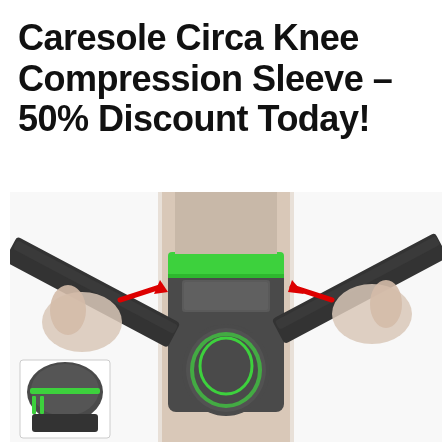Caresole Circa Knee Compression Sleeve – 50% Discount Today!
[Figure (photo): Photo of a knee wearing a black and green compression sleeve with velcro straps. Two hands on either side pull the straps outward, with red arrows indicating the pulling direction. A smaller inset image in the bottom-left shows the top of the knee sleeve.]